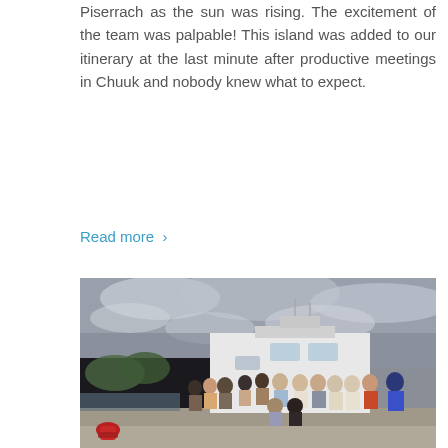Piserrach as the sun was rising. The excitement of the team was palpable! This island was added to our itinerary at the last minute after productive meetings in Chuuk and nobody knew what to expect.
Read more ›
[Figure (photo): Group photo of approximately 18 people standing and kneeling on a dock in front of a large white vessel, under a cloudy grey sky. Some green trees and water visible in the background. A red fire hydrant is visible in the foreground left.]